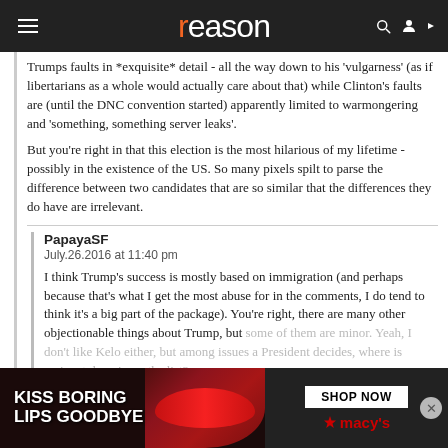reason
Trumps faults in *exquisite* detail - all the way down to his 'vulgarness' (as if libertarians as a whole would actually care about that) while Clinton's faults are (until the DNC convention started) apparently limited to warmongering and 'something, something server leaks'.
But you're right in that this election is the most hilarious of my lifetime - possibly in the existence of the US. So many pixels spilt to parse the difference between two candidates that are so similar that the differences they do have are irrelevant.
PapayaSF
July.26.2016 at 11:40 pm
I think Trump's success is mostly based on immigration (and perhaps because that's what I get the most abuse for in the comments, I do tend to think it's a big part of the package). You're right, there are many other objectionable things about Trump, but some of them are minor. Yeah, I don't like Kelo either, but among issues a President decides, where is eminent domain on the list?
[Figure (photo): Macy's advertisement banner: 'KISS BORING LIPS GOODBYE' with SHOP NOW button and Macy's logo]